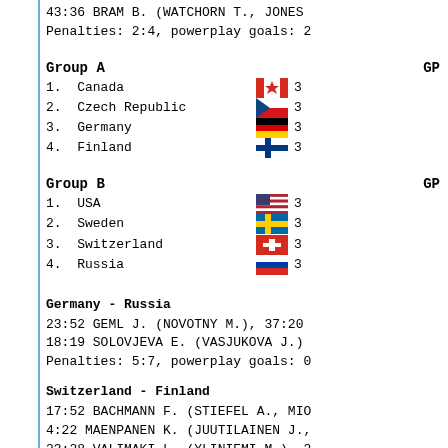43:36 BRAM B. (WATCHORN T., JONES
Penalties: 2:4, powerplay goals: 2
Group A
1. Canada   GP 3
2. Czech Republic   GP 3
3. Germany   GP 3
4. Finland   GP 3
Group B
1. USA   GP 3
2. Sweden   GP 3
3. Switzerland   GP 3
4. Russia   GP 3
Germany - Russia
23:52 GEML J. (NOVOTNY M.), 37:20
18:19 SOLOVJEVA E. (VASJUKOVA J.)
Penalties: 5:7, powerplay goals: 0
Switzerland - Finland
17:52 BACHMANN F. (STIEFEL A., MIO
4:22 MAENPANEN K. (JUUTILAINEN J.,
23:28 VALIMAKI L. (YLINIEMI M.), 2
33:39 VALIMAKI L. (LUND P., JUUTIL
55:43 NISKANEN T.
Penalties: 9:11, powerplay goals: